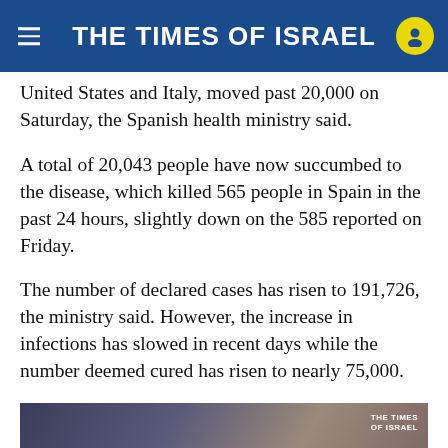THE TIMES OF ISRAEL
United States and Italy, moved past 20,000 on Saturday, the Spanish health ministry said.
A total of 20,043 people have now succumbed to the disease, which killed 565 people in Spain in the past 24 hours, slightly down on the 585 reported on Friday.
The number of declared cases has risen to 191,726, the ministry said. However, the increase in infections has slowed in recent days while the number deemed cured has risen to nearly 75,000.
[Figure (screenshot): Video thumbnail showing Simcha Jacobovicij, Journalist & Filmmaker, with The Times of Israel watermark in top right corner]